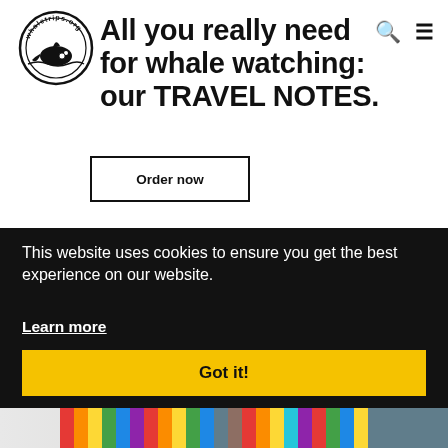[Figure (logo): Whaletrips.org circular logo with a whale and a person on a boat]
All you really need for whale watching: our TRAVEL NOTES.
Order now
This website uses cookies to ensure you get the best experience on our website.
Learn more
Got it!
[Figure (photo): Colorful pencils or similar object, partially visible at bottom of page]